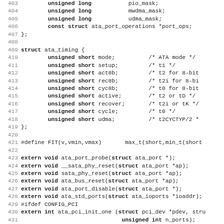Code listing lines 403-435, C source code for ATA driver header
403    unsigned long           pio_mask;
404    unsigned long           mwdma_mask;
405    unsigned long           udma_mask;
406    const struct ata_port_operations *port_ops;
407 };
408
409 struct ata_timing {
410    unsigned short mode;       /* ATA mode */
411    unsigned short setup;      /* t1 */
412    unsigned short act8b;      /* t2 for 8-bit
413    unsigned short rec8b;      /* t2i for 8-bi
414    unsigned short cyc8b;      /* t0 for 8-bit
415    unsigned short active;     /* t2 or tD */
416    unsigned short recover;    /* t2i or tK */
417    unsigned short cycle;      /* t0 */
418    unsigned short udma;       /* t2CYCTYP/2 *
419 };
420
421 #define FIT(v,vmin,vmax)    max_t(short,min_t(short
422
423 extern void ata_port_probe(struct ata_port *);
424 extern void __sata_phy_reset(struct ata_port *ap);
425 extern void sata_phy_reset(struct ata_port *ap);
426 extern void ata_bus_reset(struct ata_port *ap);
427 extern void ata_port_disable(struct ata_port *);
428 extern void ata_std_ports(struct ata_ioports *ioaddr);
429 #ifdef CONFIG_PCI
430 extern int ata_pci_init_one (struct pci_dev *pdev, stru
431                              unsigned int n_ports);
432 extern void ata_pci_remove_one (struct pci_dev *pdev);
433 #endif /* CONFIG_PCI */
434 extern int ata_device_add(const struct ata_probe_ent *e
435 extern void ata_host_set_remove(struct ata_host_set *h